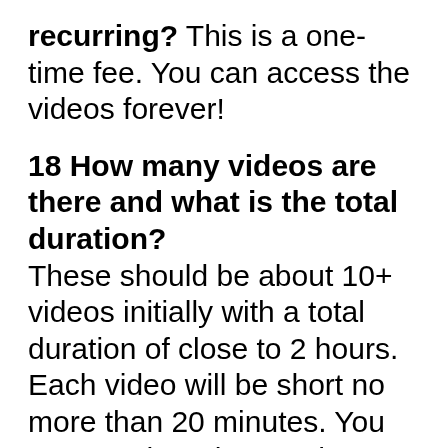recurring? This is a one-time fee. You can access the videos forever!
18 How many videos are there and what is the total duration?
These should be about 10+ videos initially with a total duration of close to 2 hours. Each video will be short no more than 20 minutes. You can watch and rewatch at your leisure.
Buy the course (Rs. 2800 only –